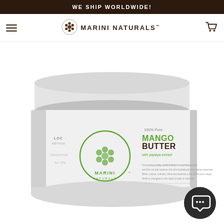WE SHIP WORLDWIDE!
[Figure (logo): Marini Naturals brand logo with decorative circular floral icon and text MARINI NATURALS]
[Figure (photo): White cylindrical jar of Marini Naturals 100% Pure Mango Butter with papaya extract, featuring the LOC Method label on the left side and a green circular Marini Naturals logo on the front. Label reads: 100% Pure MANGO BUTTER with papaya extract.]